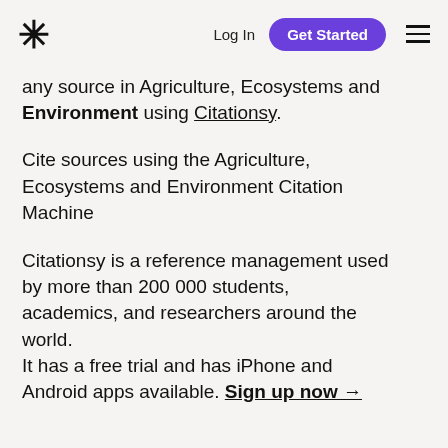* Log In  Get Started  ≡
any source in Agriculture, Ecosystems and Environment using Citationsy.
Cite sources using the Agriculture, Ecosystems and Environment Citation Machine
Citationsy is a reference management used by more than 200 000 students, academics, and researchers around the world.
It has a free trial and has iPhone and Android apps available. Sign up now →